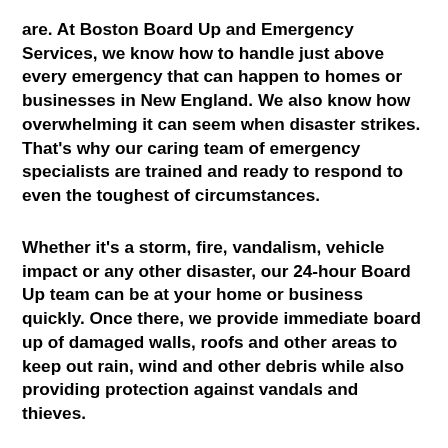are. At Boston Board Up and Emergency Services, we know how to handle just above every emergency that can happen to homes or businesses in New England. We also know how overwhelming it can seem when disaster strikes. That's why our caring team of emergency specialists are trained and ready to respond to even the toughest of circumstances.
Whether it's a storm, fire, vandalism, vehicle impact or any other disaster, our 24-hour Board Up team can be at your home or business quickly. Once there, we provide immediate board up of damaged walls, roofs and other areas to keep out rain, wind and other debris while also providing protection against vandals and thieves.